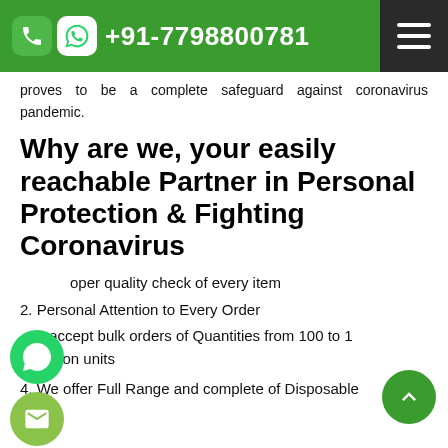+91-7798800781
proves to be a complete safeguard against coronavirus pandemic.
Why are we, your easily reachable Partner in Personal Protection & Fighting Coronavirus
1. proper quality check of every item
2. Personal Attention to Every Order
3. We accept bulk orders of Quantities from 100 to 1 million units
4. We offer Full Range and complete of Disposable Medical Products